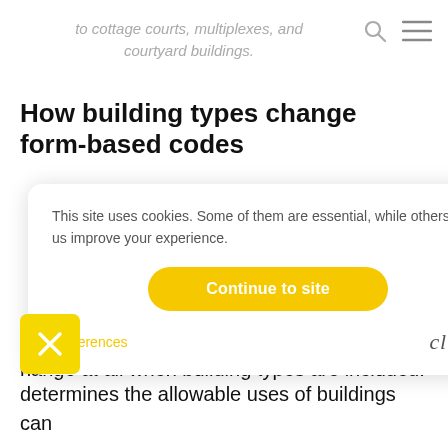to cottage courts, multiplexes, and courtyard buildings.
How building types change form-based codes
[Figure (screenshot): Cookie consent popup overlay with text 'This site uses cookies. Some of them are essential, while others help us improve your experience.' A yellow 'Continue to site' button, a 'Preferences' link in yellow, and a 'clym' logo in the bottom right corner.]
...ssions by ...ectively
...hange at all when building types are included.
...nstance, the simplified use matrix that determines the allowable uses of buildings can